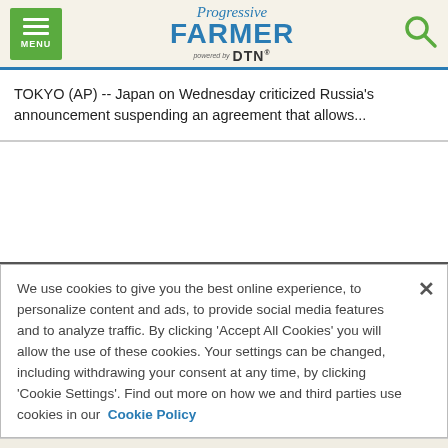Progressive Farmer powered by DTN
TOKYO (AP) -- Japan on Wednesday criticized Russia's announcement suspending an agreement that allows...
We use cookies to give you the best online experience, to personalize content and ads, to provide social media features and to analyze traffic. By clicking 'Accept All Cookies' you will allow the use of these cookies. Your settings can be changed, including withdrawing your consent at any time, by clicking 'Cookie Settings'. Find out more on how we and third parties use cookies in our Cookie Policy
Accept and Close ✕
Your browser settings do not allow cross-site tracking for advertising. Click on this page to allow AdRoll to use cross-site tracking to tailor ads to you. Learn more or opt out of this AdRoll tracking by clicking here. This message only appears once.